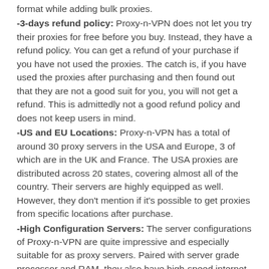format while adding bulk proxies.
-3-days refund policy: Proxy-n-VPN does not let you try their proxies for free before you buy. Instead, they have a refund policy. You can get a refund of your purchase if you have not used the proxies. The catch is, if you have used the proxies after purchasing and then found out that they are not a good suit for you, you will not get a refund. This is admittedly not a good refund policy and does not keep users in mind.
-US and EU Locations: Proxy-n-VPN has a total of around 30 proxy servers in the USA and Europe, 3 of which are in the UK and France. The USA proxies are distributed across 20 states, covering almost all of the country. Their servers are highly equipped as well. However, they don't mention if it's possible to get proxies from specific locations after purchase.
-High Configuration Servers: The server configurations of Proxy-n-VPN are quite impressive and especially suitable for as proxy servers. Paired with server grade processor and RAM, they also have high-speed internet connection for a flawless browsing experience.